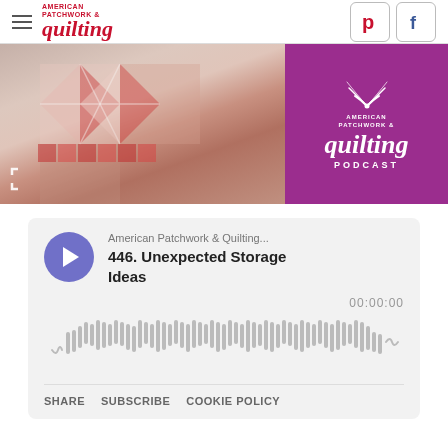American Patchwork & Quilting
[Figure (screenshot): Banner image showing a quilt with red and floral patterns on the left, and on the right a purple/magenta panel with the American Patchwork & Quilting Podcast logo (wifi-style arc icon, text 'quilting PODCAST')]
[Figure (infographic): Podcast player widget showing play button, episode title '446. Unexpected Storage Ideas', waveform visualizer, timestamp 00:00:00, and links SHARE, SUBSCRIBE, COOKIE POLICY]
American Patchwork & Quilting...
446. Unexpected Storage Ideas
00:00:00
SHARE  SUBSCRIBE  COOKIE POLICY